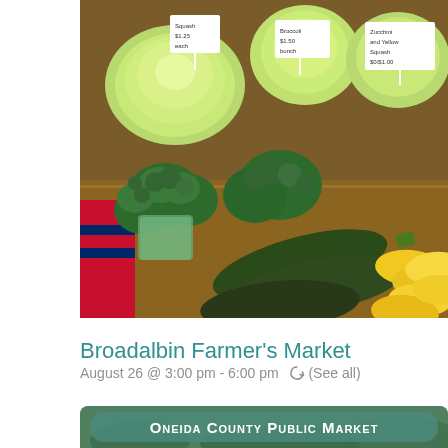[Figure (photo): Farmers market vegetable display showing cabbage, broccoli, zucchini, and yellow squash on a wooden table with price signs]
Broadalbin Farmer's Market
August 26 @ 3:00 pm - 6:00 pm ↺ (See all)
[Figure (photo): Oneida County Public Market banner/logo over a background photo of produce]